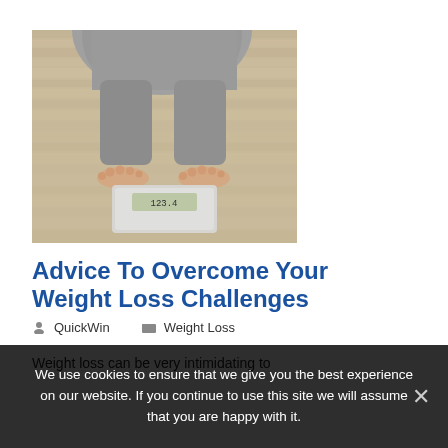[Figure (photo): Overhead view of a person standing on a bathroom scale on a wooden floor, wearing grey sweatpants, bare feet visible]
Advice To Overcome Your Weight Loss Challenges
QuickWin   Weight Loss
Weight loss can be very intimidating to
We use cookies to ensure that we give you the best experience on our website. If you continue to use this site we will assume that you are happy with it.